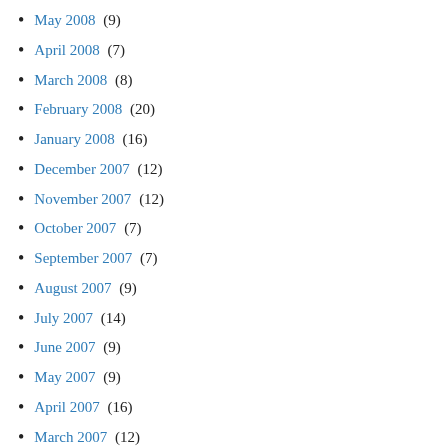May 2008 (9)
April 2008 (7)
March 2008 (8)
February 2008 (20)
January 2008 (16)
December 2007 (12)
November 2007 (12)
October 2007 (7)
September 2007 (7)
August 2007 (9)
July 2007 (14)
June 2007 (9)
May 2007 (9)
April 2007 (16)
March 2007 (12)
February 2007 (18)